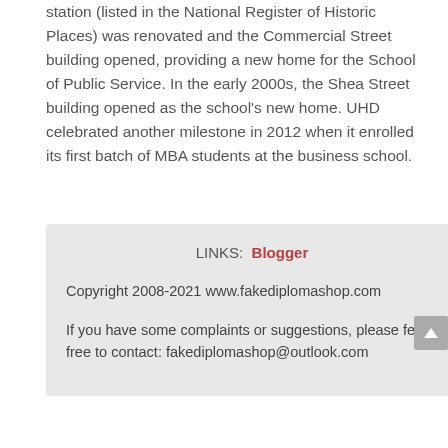station (listed in the National Register of Historic Places) was renovated and the Commercial Street building opened, providing a new home for the School of Public Service. In the early 2000s, the Shea Street building opened as the school's new home. UHD celebrated another milestone in 2012 when it enrolled its first batch of MBA students at the business school.
LINKS: Blogger
Copyright 2008-2021 www.fakediplomashop.com
If you have some complaints or suggestions, please feel free to contact: fakediplomashop@outlook.com